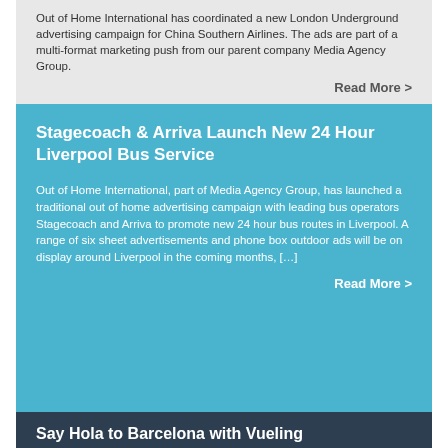Out of Home International has coordinated a new London Underground advertising campaign for China Southern Airlines. The ads are part of a multi-format marketing push from our parent company Media Agency Group.
Read More >
Stagecoach & Arriva Launch New 24 Hour Liverpool Bus Service
Out of Home International, part of Media Agency Group, has launched a traditional out of home advertising campaign with leading bus operators Stagecoach and Arriva to promote new 24 hour bus routes in Liverpool. A range of six sheet advertisements and phone box outdoor ads will be on display around Liverpool in the coming months, [...]
Read More >
Say Hola to Barcelona with Vueling